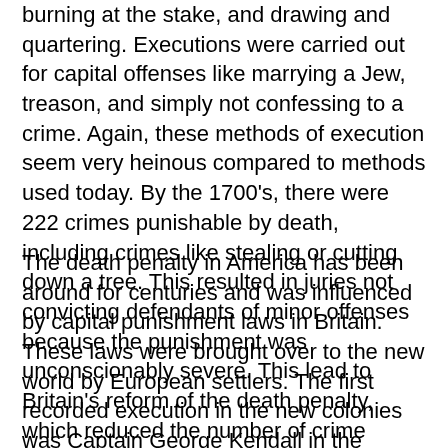burning at the stake, and drawing and quartering. Executions were carried out for capital offenses like marrying a Jew, treason, and simply not confessing to a crime. Again, these methods of execution seem very heinous compared to methods used today. By the 1700's, there were 222 crimes punishable by death, including crimes like stealing or cutting down a tree. This resulted in juries not convicting defendants of minor offenses because the punishment was unconscionably severe. This lead to Britain's reform of the death penalty, which reduced the number of crime punishable by death for over 100 of the 222 crimes from 1823 to 1837 (Intro to Death Penalty, n.d.).
The death penalty in America has been around for centuries and was influenced by capital punishment laws in Britain. These laws were brought over to the new world by European settlers. The first recorded execution in the new colonies was Captain George Kendall in the Jamestown colony of Virginia in 1608. He was executed for being a spy for Spain. The Divine, Moral, and Martial Laws were enacted by Virginia Governor Sir Thomas Dale in 1612. These laws imposed the death penalty for minor crimes such as killing chickens,